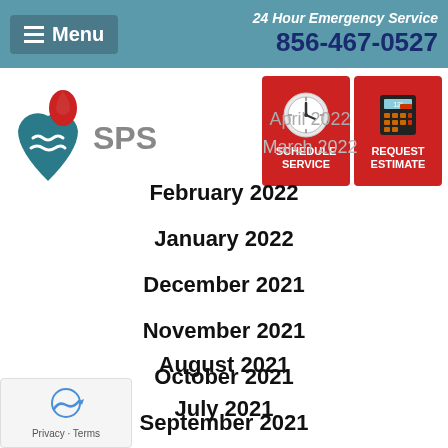Menu | 24 Hour Emergency Service 856-467-0527
[Figure (logo): SPS company logo with water drop and waves icon]
[Figure (infographic): Schedule Service button with clock icon and Request Estimate button with calculator icon]
April 2022
March 2022
February 2022
January 2022
December 2021
November 2021
October 2021
September 2021
August 2021
July 2021
June 2021
May 2021